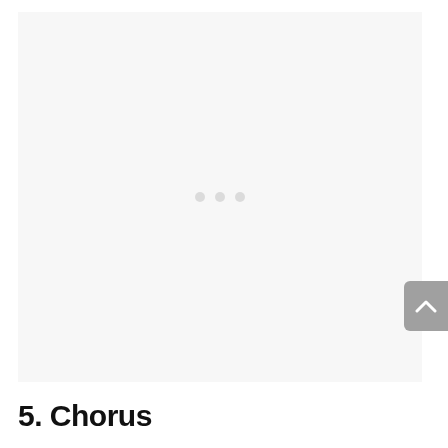[Figure (other): Large light gray image placeholder box with three small dots in the center, indicating loading or an embedded media element. A gray scroll-to-top button appears on the right edge.]
5. Chorus